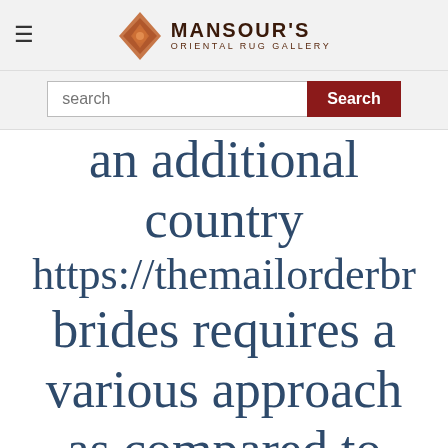MANSOUR'S ORIENTAL RUG GALLERY
search
an additional country https://themailorderbrides brides requires a various approach as compared to internet dating